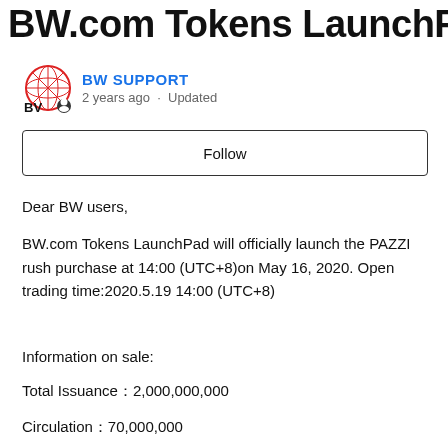BW.com Tokens LaunchPad
BW SUPPORT
2 years ago · Updated
Follow
Dear BW users,
BW.com Tokens LaunchPad will officially launch the PAZZI rush purchase at 14:00 (UTC+8)on May 16, 2020. Open trading time:2020.5.19 14:00 (UTC+8)
Information on sale:
Total Issuance：2,000,000,000
Circulation：70,000,000